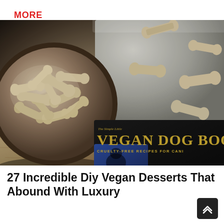MORE IMAGES
[Figure (photo): Photo of bone-shaped vegan dog biscuits in a glass bowl next to a baking tray with more biscuits, and a book titled 'The Simple Little VEGAN DOG BOOK - Cruelty-Free Recipes for Canines']
27 Incredible Diy Vegan Desserts That Abound With Luxury